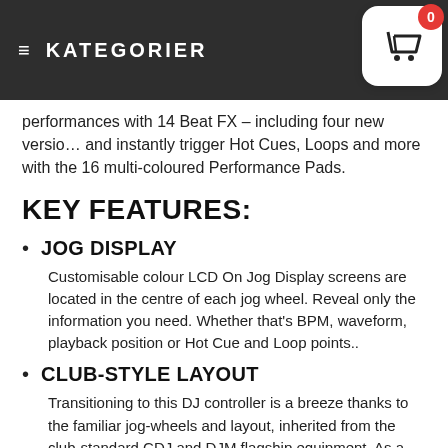≡ KATEGORIER
performances with 14 Beat FX – including four new versions and instantly trigger Hot Cues, Loops and more with the 16 multi-coloured Performance Pads.
KEY FEATURES:
JOG DISPLAY
Customisable colour LCD On Jog Display screens are located in the centre of each jog wheel. Reveal only the information you need. Whether that's BPM, waveform, playback position or Hot Cue and Loop points..
CLUB-STYLE LAYOUT
Transitioning to this DJ controller is a breeze thanks to the familiar jog-wheels and layout, inherited from the club-standard CDJ and DJM flagship equipment. As a result, using rekordbox dj with the DDJ-1000 feels the same as playing from USB drive with a NXS2 setup...